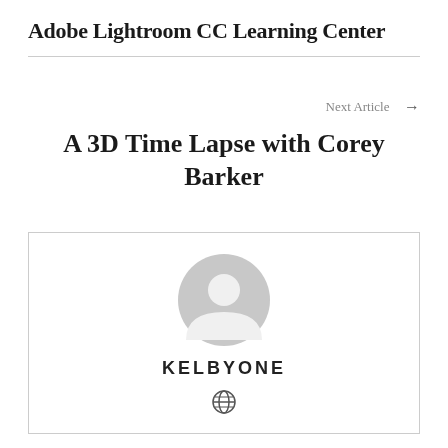Adobe Lightroom CC Learning Center
Next Article →
A 3D Time Lapse with Corey Barker
[Figure (illustration): Author card with a grey default user avatar icon and the text KELBYONE below it, plus a small globe icon underneath.]